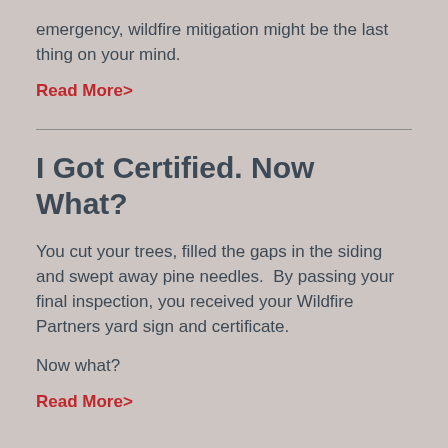emergency, wildfire mitigation might be the last thing on your mind.
Read More>
I Got Certified. Now What?
You cut your trees, filled the gaps in the siding and swept away pine needles.  By passing your final inspection, you received your Wildfire Partners yard sign and certificate.
Now what?
Read More>